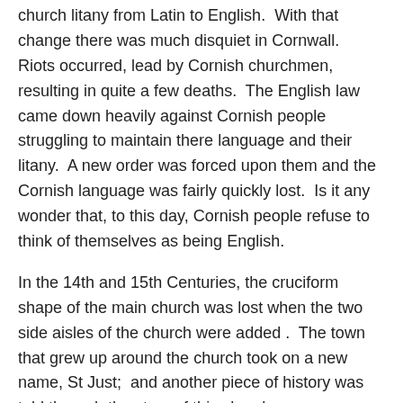church litany from Latin to English.  With that change there was much disquiet in Cornwall.  Riots occurred, lead by Cornish churchmen, resulting in quite a few deaths.  The English law came down heavily against Cornish people struggling to maintain there language and their litany.  A new order was forced upon them and the Cornish language was fairly quickly lost.  Is it any wonder that, to this day, Cornish people refuse to think of themselves as being English.
In the 14th and 15th Centuries, the cruciform shape of the main church was lost when the two side aisles of the church were added .  The town that grew up around the church took on a new name, St Just;  and another piece of history was told through the story of this church.